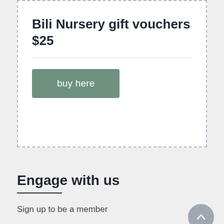Bili Nursery gift vouchers $25
[Figure (other): A green 'buy here' button inside a dashed-border voucher card]
Engage with us
Sign up to be a member
Contact us